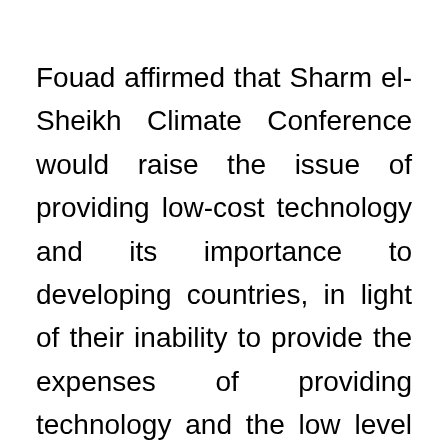Fouad affirmed that Sharm el-Sheikh Climate Conference would raise the issue of providing low-cost technology and its importance to developing countries, in light of their inability to provide the expenses of providing technology and the low level of education.
The Egyptian Minister said that Cairo announced to transform Sharm El-Sheikh into a green city, by converting all transportation means in the city to work